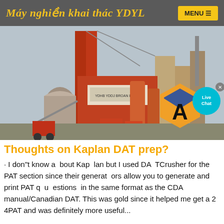Máy nghiền khai thác YDYL
[Figure (photo): Industrial mining/crushing machinery - large orange industrial plant or asphalt mixing station with towers, silos, and equipment]
Thoughts on Kaplan DAT prep?
· I don"t know a bout Kap lan but I used DA TCrusher for the PAT section since their generat ors allow you to generate and print PAT q u estions in the same format as the CDA manual/Canadian DAT. This was gold since it helped me get a 2 4PAT and was definitely more useful...